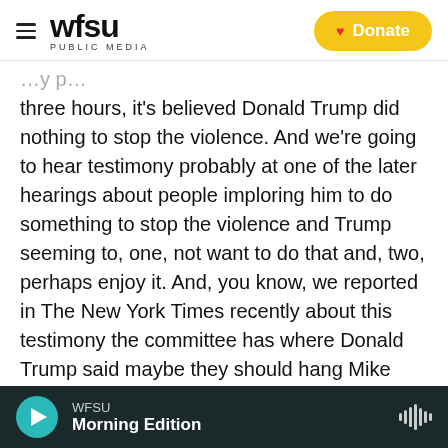WFSU PUBLIC MEDIA — Donate
three hours, it's believed Donald Trump did nothing to stop the violence. And we're going to hear testimony probably at one of the later hearings about people imploring him to do something to stop the violence and Trump seeming to, one, not want to do that and, two, perhaps enjoy it. And, you know, we reported in The New York Times recently about this testimony the committee has where Donald Trump said maybe they should hang Mike Pence. And so he did not react with horror once he heard what the crowd was doing, according to testimony the committee has. But he reacted with
WFSU Morning Edition